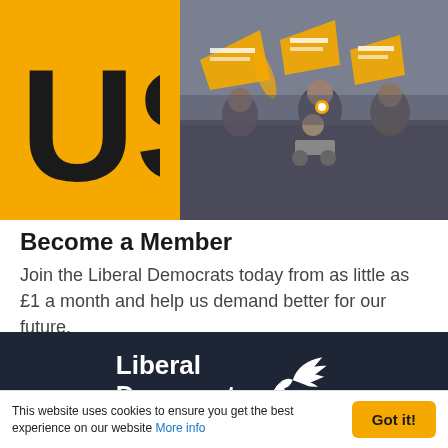[Figure (photo): Left side: yellow/amber background panel with large bold text 'US'. Right side: crowd photo showing people at a Liberal Democrats rally holding yellow party signs and flags.]
Become a Member
Join the Liberal Democrats today from as little as £1 a month and help us demand better for our future.
[Figure (logo): Liberal Democrats logo: white bird/wing graphic alongside white text 'Liberal Democrats' on dark navy background.]
The Liberal Democrats may use the information you
This website uses cookies to ensure you get the best experience on our website More info